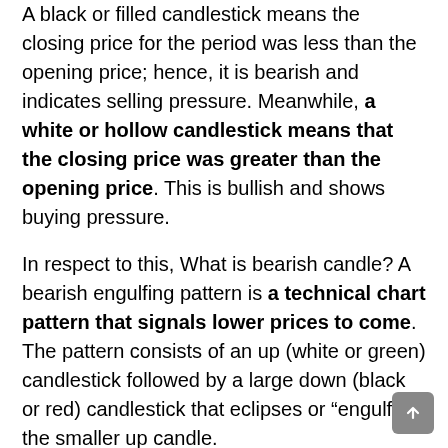A black or filled candlestick means the closing price for the period was less than the opening price; hence, it is bearish and indicates selling pressure. Meanwhile, a white or hollow candlestick means that the closing price was greater than the opening price. This is bullish and shows buying pressure.
In respect to this, What is bearish candle? A bearish engulfing pattern is a technical chart pattern that signals lower prices to come. The pattern consists of an up (white or green) candlestick followed by a large down (black or red) candlestick that eclipses or “engulfs” the smaller up candle.
How do you know when a stock will go up?